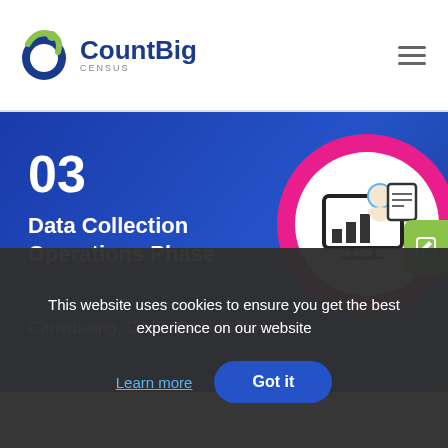CountBig Census
03
Data Collection Operations Phase
Canvassing, CAPI, CATI, CAWI
[Figure (illustration): Icon of a person at a computer with a chart, inside a white circle with a magenta ring]
This website uses cookies to ensure you get the best experience on our website
Learn more
Got it